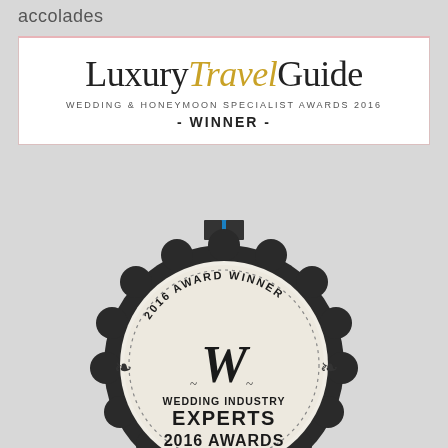accolades
[Figure (logo): Luxury Travel Guide Wedding & Honeymoon Specialist Awards 2016 Winner logo badge]
[Figure (photo): Wedding Industry Experts 2016 Awards medal/badge - a decorative seal with black scalloped edge, white face, showing '2016 Award Winner', ornate W monogram, 'Wedding Industry Experts', '2016 Awards' text, with a blue ribbon at the top]